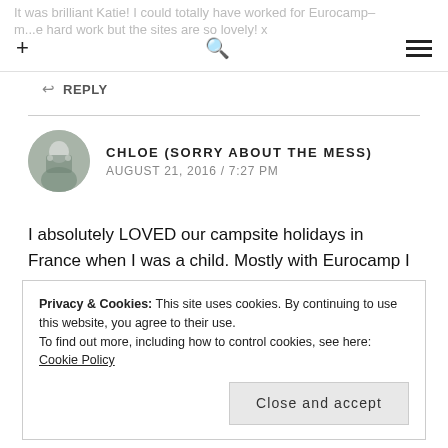It was brilliant Katie! I could totally have worked for Eurocamp– m...e hard work but the sites are so lovely! x
REPLY
CHLOE (SORRY ABOUT THE MESS)
AUGUST 21, 2016 / 7:27 PM
I absolutely LOVED our campsite holidays in France when I was a child. Mostly with Eurocamp I think so it's all very nostalgic reading this.
REPLY
Privacy & Cookies: This site uses cookies. By continuing to use this website, you agree to their use.
To find out more, including how to control cookies, see here: Cookie Policy
Close and accept